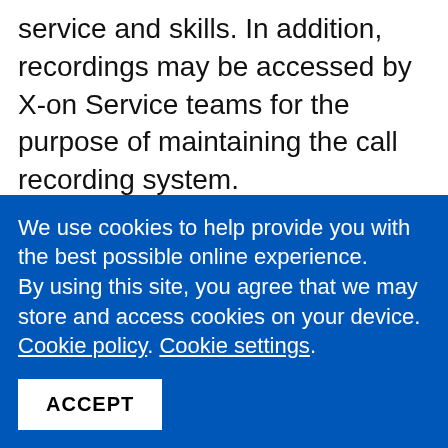service and skills. In addition, recordings may be accessed by X-on Service teams for the purpose of maintaining the call recording system.
Any individual Portland Medical permanent or temporary employee may request to hear call recordings in which they are personally involved. Portland Medical managers may request to hear call recordings which involve a member of their team. They should make a request via email or in writing
We use cookies to help provide you with the best possible online experience.
By using this site, you agree that we may store and access cookies on your device. Cookie policy. Cookie settings.
ACCEPT